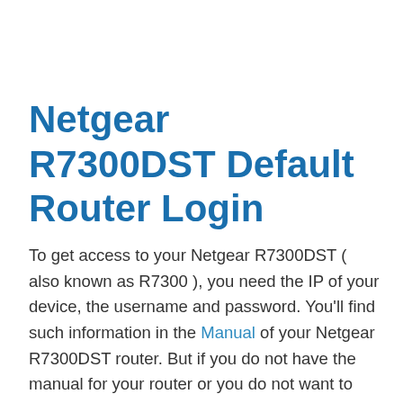Netgear R7300DST Default Router Login
To get access to your Netgear R7300DST ( also known as R7300 ), you need the IP of your device, the username and password. You'll find such information in the Manual of your Netgear R7300DST router. But if you do not have the manual for your router or you do not want to read the whole manual to find the default login information then you can use the quick guide below. To get to the